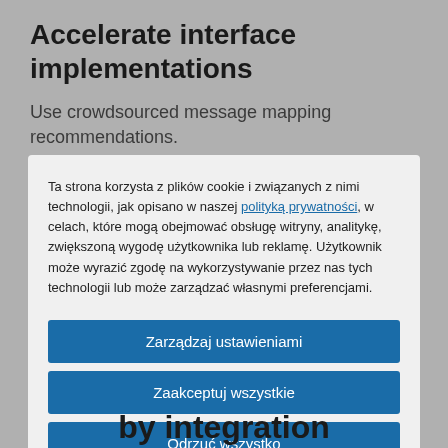Accelerate interface implementations
Use crowdsourced message mapping recommendations.
SAP Process Orchestration
Ta strona korzysta z plików cookie i związanych z nimi technologii, jak opisano w naszej polityką prywatności, w celach, które mogą obejmować obsługę witryny, analitykę, zwiększoną wygodę użytkownika lub reklamę. Użytkownik może wyrazić zgodę na wykorzystywanie przez nas tych technologii lub może zarządzać własnymi preferencjami.
Zarządzaj ustawieniami
Zaakceptuj wszystkie
Odrzuć wszystko
Oświadczenie dotyczące plików cookie
by integration